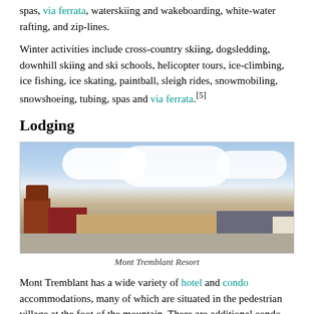spas, via ferrata, waterskiing and wakeboarding, white-water rafting, and zip-lines.
Winter activities include cross-country skiing, dogsledding, downhill skiing and ski schools, helicopter tours, ice-climbing, ice fishing, ice skating, paintball, sleigh rides, snowmobiling, snowshoeing, tubing, spas and via ferrata.[5]
Lodging
[Figure (photo): Panoramic photo of Mont Tremblant Resort village showing colorful buildings including a clock tower, ski chalets and resort buildings under a cloudy sky with a large open plaza in the foreground.]
Mont Tremblant Resort
Mont Tremblant has a wide variety of hotel and condo accommodations, many of which are situated in the pedestrian village at the foot of the mountain. There are additional condo and chalet accommodations located adjacent to the pedestrian